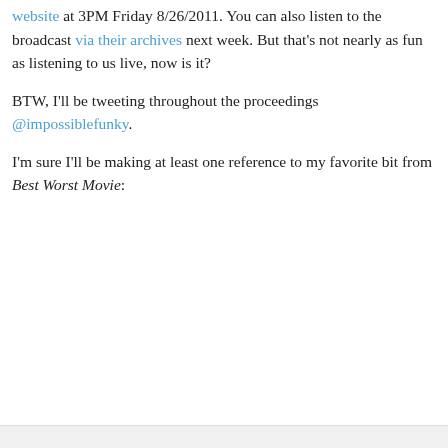website at 3PM Friday 8/26/2011. You can also listen to the broadcast via their archives next week. But that's not nearly as fun as listening to us live, now is it?
BTW, I'll be tweeting throughout the proceedings @impossiblefunky.
I'm sure I'll be making at least one reference to my favorite bit from Best Worst Movie:
[Figure (other): Embedded video plugin area showing 'Couldn't load plugin.' message]